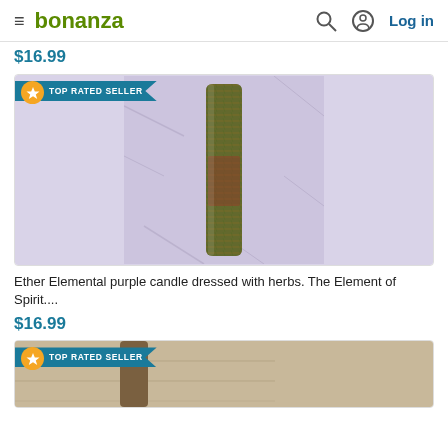bonanza — Log in
$16.99
[Figure (photo): Product card showing a herb-dressed purple candle on lavender fabric with TOP RATED SELLER badge]
Ether Elemental purple candle dressed with herbs. The Element of Spirit....
$16.99
[Figure (photo): Partial product card with TOP RATED SELLER badge, showing bottom of another candle product on wood surface]